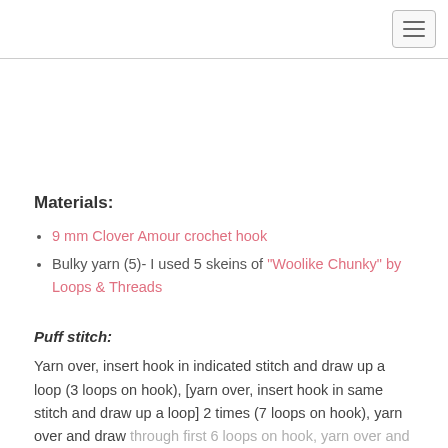[hamburger menu icon]
Materials:
9 mm Clover Amour crochet hook
Bulky yarn (5)- I used 5 skeins of "Woolike Chunky" by Loops & Threads
Puff stitch:
Yarn over, insert hook in indicated stitch and draw up a loop (3 loops on hook), [yarn over, insert hook in same stitch and draw up a loop] 2 times (7 loops on hook), yarn over and draw through first 6 loops on hook, yarn over and draw through remaining 2 loops on hook.